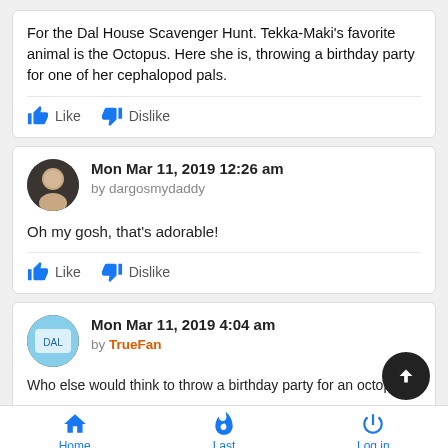For the Dal House Scavenger Hunt. Tekka-Maki's favorite animal is the Octopus. Here she is, throwing a birthday party for one of her cephalopod pals.
Like   Dislike
Mon Mar 11, 2019 12:26 am
by dargosmydaddy
Oh my gosh, that's adorable!
Like   Dislike
Mon Mar 11, 2019 4:04 am
by TrueFan
Who else would think to throw a birthday party for an octopus?
Home   Last   Log in